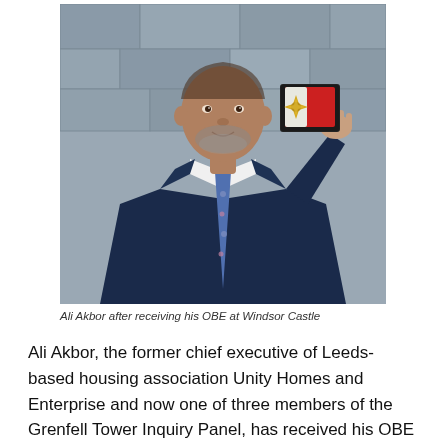[Figure (photo): A man in a navy blue suit holding up an OBE medal in a black presentation box with a red velvet interior, standing in front of a stone wall background.]
Ali Akbor after receiving his OBE at Windsor Castle
Ali Akbor, the former chief executive of Leeds-based housing association Unity Homes and Enterprise and now one of three members of the Grenfell Tower Inquiry Panel, has received his OBE from Her Royal Highness The Princess Royal in a ceremony at Windsor Castle.